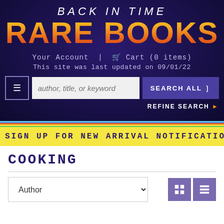BACK IN TIME RARE BOOKS
Your Account | Cart (0 items)
This site was last updated on 09/01/22
author, title, or keyword
SEARCH ALL
REFINE SEARCH
SIGN UP FOR NEW ARRIVAL NOTIFICATIONS
COOKING
Author